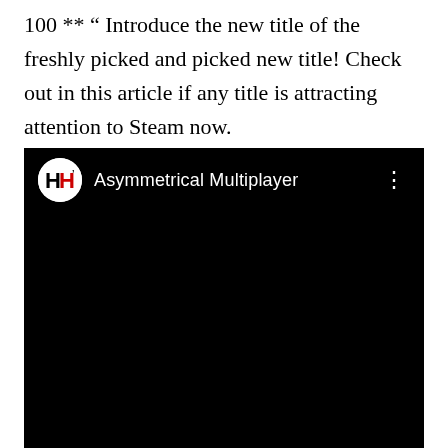100 ** " Introduce the new title of the freshly picked and picked new title! Check out in this article if any title is attracting attention to Steam now.
[Figure (screenshot): YouTube-style embedded video player with black background. Channel icon shows 'HH' logo (white circle with black H and red H letters). Channel name reads 'Asymmetrical Multiplayer'. Three-dot menu icon on the right. Video content area is entirely black.]